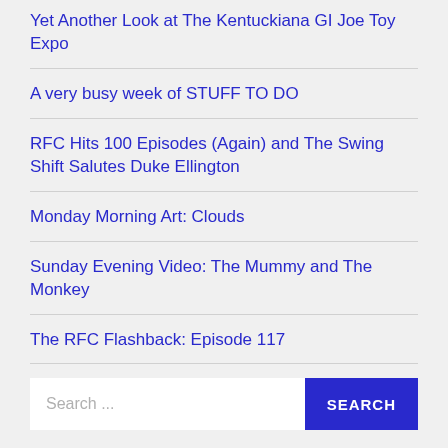Yet Another Look at The Kentuckiana GI Joe Toy Expo
A very busy week of STUFF TO DO
RFC Hits 100 Episodes (Again) and The Swing Shift Salutes Duke Ellington
Monday Morning Art: Clouds
Sunday Evening Video: The Mummy and The Monkey
The RFC Flashback: Episode 117
Disco Divas Run Wild On MIRRORBALL!